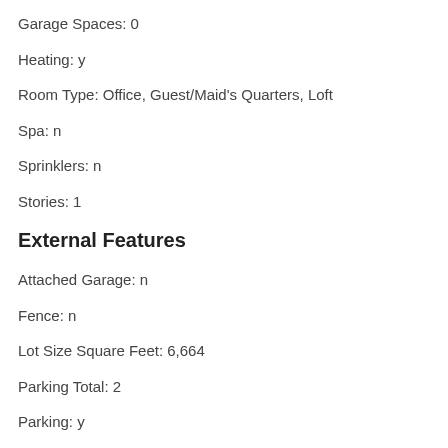Garage Spaces: 0
Heating: y
Room Type: Office, Guest/Maid's Quarters, Loft
Spa: n
Sprinklers: n
Stories: 1
External Features
Attached Garage: n
Fence: n
Lot Size Square Feet: 6,664
Parking Total: 2
Parking: y
Patio: n